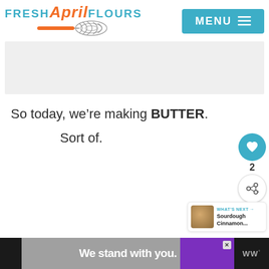Fresh April Flours — MENU
[Figure (other): Light gray advertisement placeholder banner area]
So today, we’re making BUTTER.
Sort of.
[Figure (infographic): Floating sidebar with teal heart/like button, count '2', and share button]
[Figure (other): What's Next panel with thumbnail image and text 'Sourdough Cinnamon...']
[Figure (other): Bottom advertisement banner: 'We stand with you.' in black/gray/purple with WW logo]